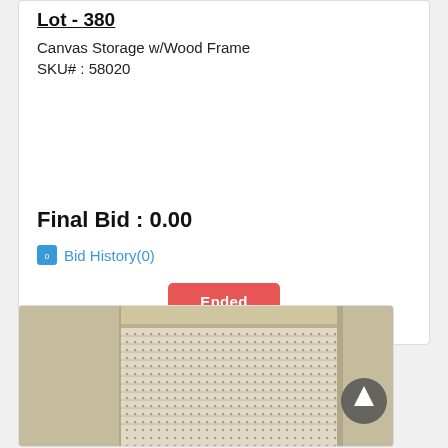Lot - 380
Canvas Storage w/Wood Frame
SKU# : 58020
Final Bid : 0.00
Bid History(0)
Ended
[Figure (photo): Photo of a roll-up storage door or pegboard panel mounted in a wooden frame, light beige/tan color with a dark dotted pattern.]